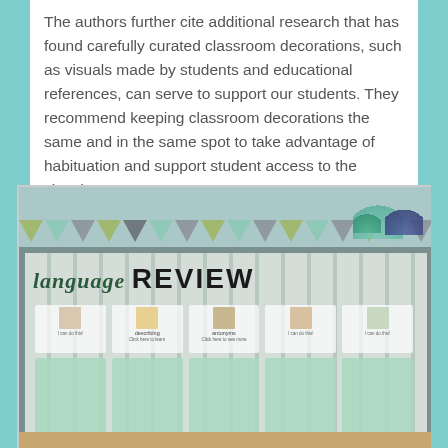The authors further cite additional research that has found carefully curated classroom decorations, such as visuals made by students and educational references, can serve to support our students. They recommend keeping classroom decorations the same and in the same spot to take advantage of habituation and support student access to the visuals.
[Figure (photo): Photograph of a classroom bulletin board with a 'Welcome to Speech' bunting banner at the top, and a 'language REVIEW' board below featuring several educational cards and mint green squares as pockets. Decorative paper fans in teal and navy are visible on the right side.]